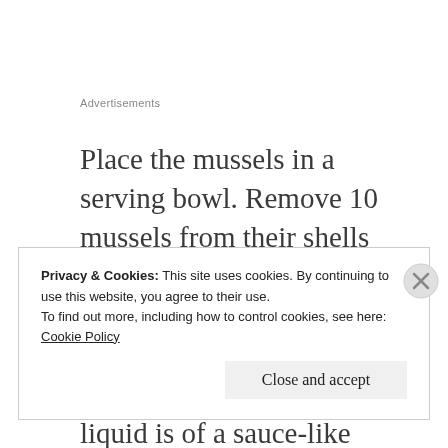Advertisements
Place the mussels in a serving bowl. Remove 10 mussels from their shells and add them to the stockpot. Using a stick blender or a bar blender, puree the mussels until the liquid is of a sauce-like
Privacy & Cookies: This site uses cookies. By continuing to use this website, you agree to their use.
To find out more, including how to control cookies, see here: Cookie Policy
Close and accept